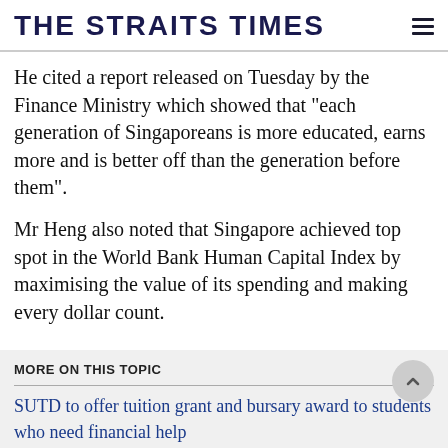THE STRAITS TIMES
He cited a report released on Tuesday by the Finance Ministry which showed that "each generation of Singaporeans is more educated, earns more and is better off than the generation before them".
Mr Heng also noted that Singapore achieved top spot in the World Bank Human Capital Index by maximising the value of its spending and making every dollar count.
MORE ON THIS TOPIC
SUTD to offer tuition grant and bursary award to students who need financial help